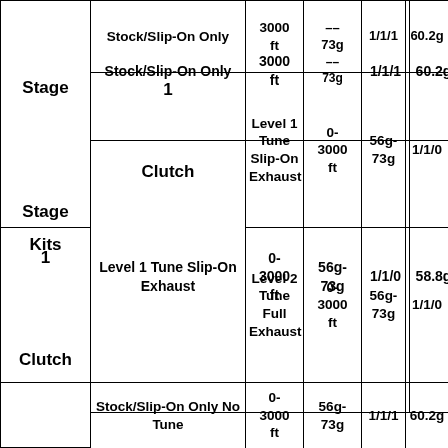| Stage/Clutch/Kits | Kit Type | Altitude | Weight | Ratio | Flyweight |
| --- | --- | --- | --- | --- | --- |
| Stage | Stock/Slip-On Only | 3000 ft | ??g 73g | 1/1/1 | 60.2g |
| 1

Clutch | Level 1 Tune Slip-On Exhaust | 0-3000 ft | 56g-73g | 1/1/0 | 58.8g |
| Kits | Level 2 Tune Full Exhaust | 0-3000 ft | 56g-73g | 1/1/0 | 58.8g |
|  | Stock/Slip-On Only No Tune | 0-3000 ft | 56g-73g | 1/1/1 | 60.2g |